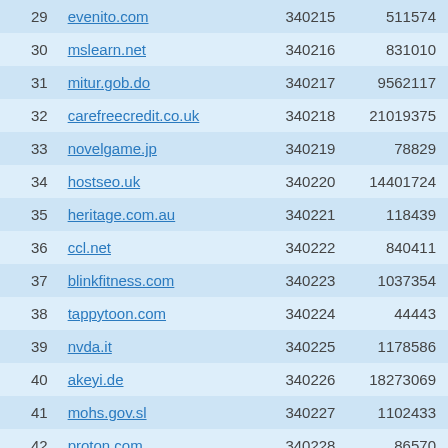| 29 | evenito.com | 340215 | 511574 |
| 30 | mslearn.net | 340216 | 831010 |
| 31 | mitur.gob.do | 340217 | 9562117 |
| 32 | carefreecredit.co.uk | 340218 | 21019375 |
| 33 | novelgame.jp | 340219 | 78829 |
| 34 | hostseo.uk | 340220 | 14401724 |
| 35 | heritage.com.au | 340221 | 118439 |
| 36 | ccl.net | 340222 | 840411 |
| 37 | blinkfitness.com | 340223 | 1037354 |
| 38 | tappytoon.com | 340224 | 44443 |
| 39 | nvda.it | 340225 | 1178586 |
| 40 | akeyi.de | 340226 | 18273069 |
| 41 | mohs.gov.sl | 340227 | 1102433 |
| 42 | proton.com | 340228 | 86570 |
| 43 | psa.org.nz | 340229 | 331006 |